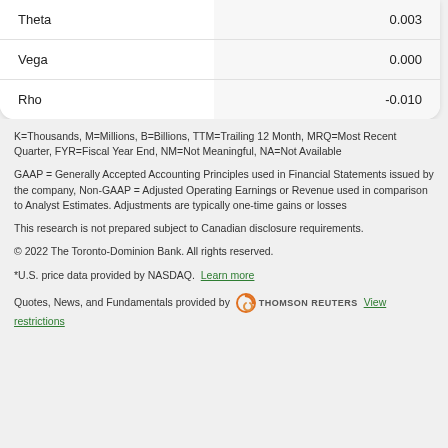|  |  |
| --- | --- |
| Theta | 0.003 |
| Vega | 0.000 |
| Rho | -0.010 |
K=Thousands, M=Millions, B=Billions, TTM=Trailing 12 Month, MRQ=Most Recent Quarter, FYR=Fiscal Year End, NM=Not Meaningful, NA=Not Available
GAAP = Generally Accepted Accounting Principles used in Financial Statements issued by the company, Non-GAAP = Adjusted Operating Earnings or Revenue used in comparison to Analyst Estimates. Adjustments are typically one-time gains or losses
This research is not prepared subject to Canadian disclosure requirements.
© 2022 The Toronto-Dominion Bank. All rights reserved.
*U.S. price data provided by NASDAQ.  Learn more
Quotes, News, and Fundamentals provided by  THOMSON REUTERS  View restrictions